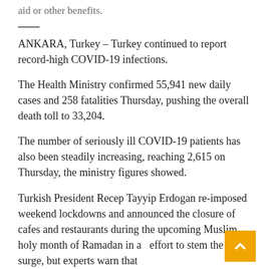aid or other benefits.
ANKARA, Turkey – Turkey continued to report record-high COVID-19 infections.
The Health Ministry confirmed 55,941 new daily cases and 258 fatalities Thursday, pushing the overall death toll to 33,204.
The number of seriously ill COVID-19 patients has also been steadily increasing, reaching 2,615 on Thursday, the ministry figures showed.
Turkish President Recep Tayyip Erdogan re-imposed weekend lockdowns and announced the closure of cafes and restaurants during the upcoming Muslim holy month of Ramadan in an effort to stem the surge, but experts warn that